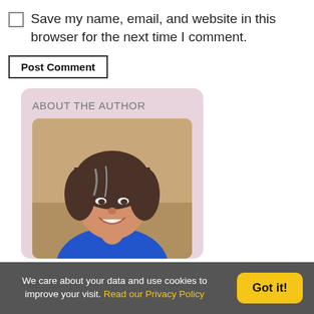Save my name, email, and website in this browser for the next time I comment.
Post Comment
ABOUT THE AUTHOR
[Figure (photo): Headshot of a smiling middle-aged woman with brown hair wearing a blue top, photographed outdoors.]
We care about your data and use cookies to improve your visit. Read our Privacy Policy